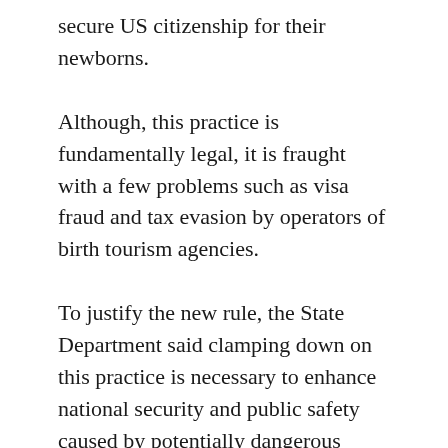secure US citizenship for their newborns.
Although, this practice is fundamentally legal, it is fraught with a few problems such as visa fraud and tax evasion by operators of birth tourism agencies.
To justify the new rule, the State Department said clamping down on this practice is necessary to enhance national security and public safety caused by potentially dangerous immigrants. However, the officials could not give an example of a threat to national security and public safety in the past attributable to birth tourism.